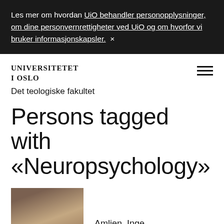Les mer om hvordan UiO behandler personopplysninger, om dine personvernrettigheter ved UiO og om hvorfor vi bruker informasjonskapsler. ×
[Figure (logo): Universitetet i Oslo logo text in serif uppercase]
Det teologiske fakultet
Persons tagged with «Neuropsychology»
[Figure (photo): Portrait photo of Amlien, Inge, partially visible]
Amlien, Inge